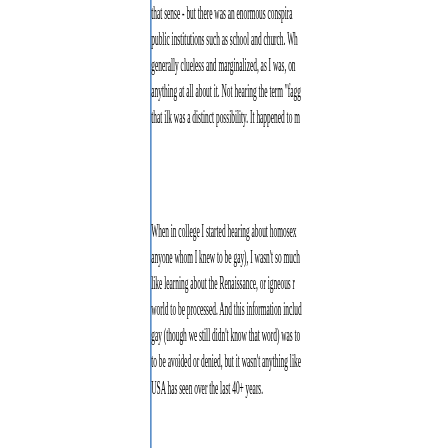that sense - but there was an enormous conspira... public institutions such as school and church. Wh... generally clueless and marginalized, as I was, on... anything at all about it. Not hearing the term "fagg... that ilk was a distinct possibility. It happened to m...
When in college I started hearing about homosex... anyone whom I knew to be gay), I wasn't so much... like learning about the Renaissance, or igneous r... world to be processed. And this information includ... gay (though we still didn't know that word) was to... to be avoided or denied, but it wasn't anything like... USA has seen over the last 40+ years.
I guess you had to be there. I was, and I'm guess...
The rest of you are kids. Get off my lawn! ;-}
Posted by: dr ngo | January 03, 2011 at 12:22 AM
WRT banning, I don't think "avedis" should be (or... think that, after the first couple of dozens of roun... ignored. Shunned, even. DNFTT.
He claims he is not a homophobe. Maybe, maybe...